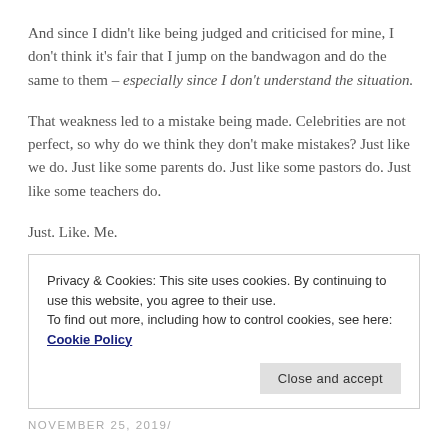And since I didn’t like being judged and criticised for mine, I don’t think it’s fair that I jump on the bandwagon and do the same to them – especially since I don’t understand the situation.
That weakness led to a mistake being made. Celebrities are not perfect, so why do we think they don’t make mistakes? Just like we do. Just like some parents do. Just like some pastors do. Just like some teachers do.
Just. Like. Me.
Privacy & Cookies: This site uses cookies. By continuing to use this website, you agree to their use. To find out more, including how to control cookies, see here: Cookie Policy
NOVEMBER 25, 2019/